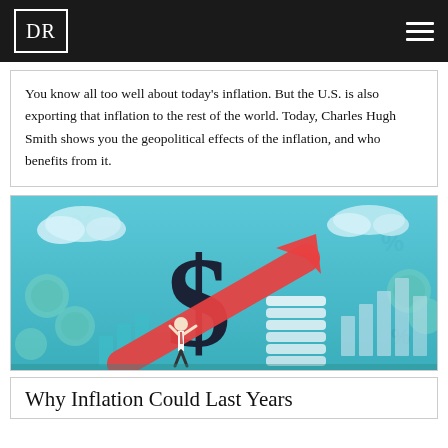DR
You know all too well about today’s inflation. But the U.S. is also exporting that inflation to the rest of the world. Today, Charles Hugh Smith shows you the geopolitical effects of the inflation, and who benefits from it.
[Figure (illustration): Stylized illustration showing a large dark dollar sign symbol with a rising red arrow passing through it, a small person in the foreground looking up, stacks of coins and bar chart elements in the background, on a blue teal background with percentage signs and coin motifs.]
Why Inflation Could Last Years